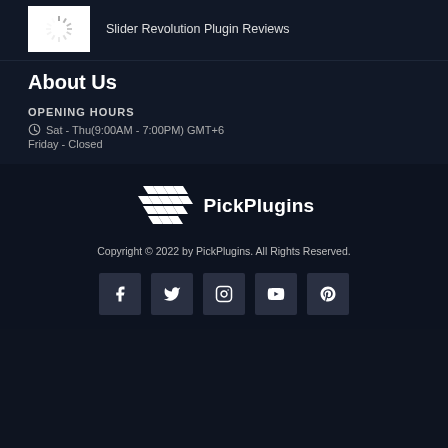Slider Revolution Plugin Reviews
About Us
OPENING HOURS
Sat - Thu(9:00AM - 7:00PM) GMT+6
Friday - Closed
[Figure (logo): PickPlugins logo with geometric diamond/wave icon and text PickPlugins]
Copyright © 2022 by PickPlugins. All Rights Reserved.
[Figure (other): Social media icons row: Facebook, Twitter, Instagram, YouTube, Pinterest]